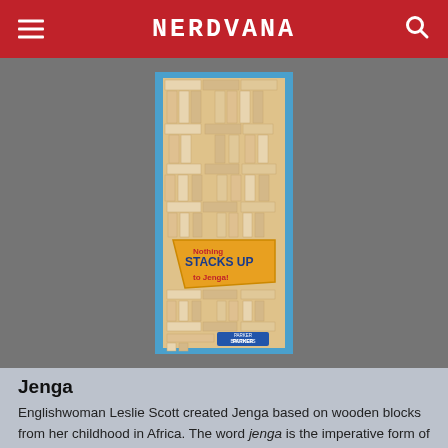NERDVANA
[Figure (photo): Jenga game box showing a tall tower of wooden blocks about to topple, with text 'Nothing STACKS UP to Jenga!' on a yellow/orange badge, and Parker Brothers logo at bottom. Box displayed against a gray background.]
Jenga
Englishwoman Leslie Scott created Jenga based on wooden blocks from her childhood in Africa. The word jenga is the imperative form of kujenga, the Swahili verb “to build.” With its catchy name and